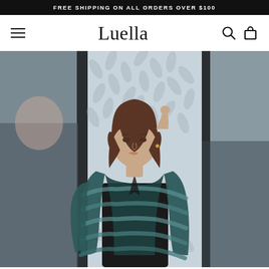FREE SHIPPING ON ALL ORDERS OVER $100
Luella
[Figure (photo): Fashion model wearing a teal/dark green faux fur coat over a black outfit, standing in front of a building with decorative glass panels featuring a leaf pattern. The model has shoulder-length brown hair and is touching her hair with one hand.]